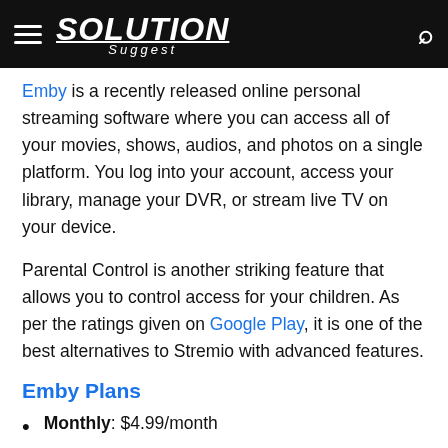SOLUTION Suggest
Emby is a recently released online personal streaming software where you can access all of your movies, shows, audios, and photos on a single platform. You log into your account, access your library, manage your DVR, or stream live TV on your device.
Parental Control is another striking feature that allows you to control access for your children. As per the ratings given on Google Play, it is one of the best alternatives to Stremio with advanced features.
Emby Plans
Monthly: $4.99/month
Yearly: $54/year
Lifetime: $119/-one time